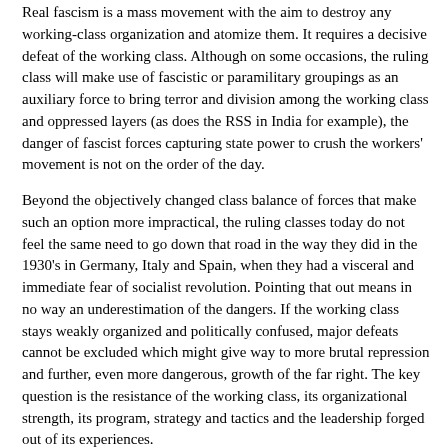Real fascism is a mass movement with the aim to destroy any working-class organization and atomize them. It requires a decisive defeat of the working class. Although on some occasions, the ruling class will make use of fascistic or paramilitary groupings as an auxiliary force to bring terror and division among the working class and oppressed layers (as does the RSS in India for example), the danger of fascist forces capturing state power to crush the workers' movement is not on the order of the day.
Beyond the objectively changed class balance of forces that make such an option more impractical, the ruling classes today do not feel the same need to go down that road in the way they did in the 1930's in Germany, Italy and Spain, when they had a visceral and immediate fear of socialist revolution. Pointing that out means in no way an underestimation of the dangers. If the working class stays weakly organized and politically confused, major defeats cannot be excluded which might give way to more brutal repression and further, even more dangerous, growth of the far right. The key question is the resistance of the working class, its organizational strength, its program, strategy and tactics and the leadership forged out of its experiences.
New Left Formations
When we first raised the need for 'new workers' parties' in the mid nineties, it was disputed on the left. Our analysis that the collapse